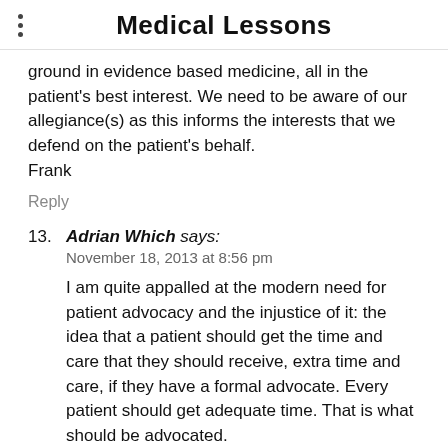Medical Lessons
ground in evidence based medicine, all in the patient's best interest. We need to be aware of our allegiance(s) as this informs the interests that we defend on the patient's behalf.
Frank
Reply
13. Adrian Which says:
November 18, 2013 at 8:56 pm

I am quite appalled at the modern need for patient advocacy and the injustice of it: the idea that a patient should get the time and care that they should receive, extra time and care, if they have a formal advocate. Every patient should get adequate time. That is what should be advocated.
Modern medicine is falling into a sorry state. This is symptomatic of a global loss of trust caused by the external pressures on the medical profession, not least in terms of time constraints.